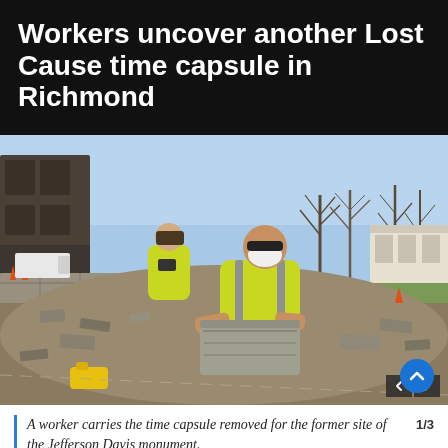Workers uncover another Lost Cause time capsule in Richmond
[Figure (photo): A construction worker in a yellow high-visibility shirt and white respirator mask carries a gray stone/concrete time capsule box at a demolition site. Another worker in the background wears a yellow jacket and holds a camera. The site shows rubble and debris. Buildings and bare winter trees visible in background.]
A worker carries the time capsule removed for the former site of the Jefferson Davis monument.